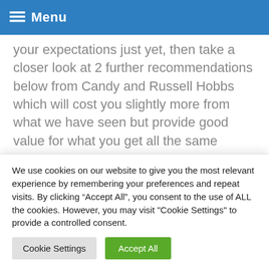Menu
your expectations just yet, then take a closer look at 2 further recommendations below from Candy and Russell Hobbs which will cost you slightly more from what we have seen but provide good value for what you get all the same
Option 4: Candy White 82L Under Counter Freezer - CHTZ552WK
We use cookies on our website to give you the most relevant experience by remembering your preferences and repeat visits. By clicking “Accept All”, you consent to the use of ALL the cookies. However, you may visit "Cookie Settings" to provide a controlled consent.